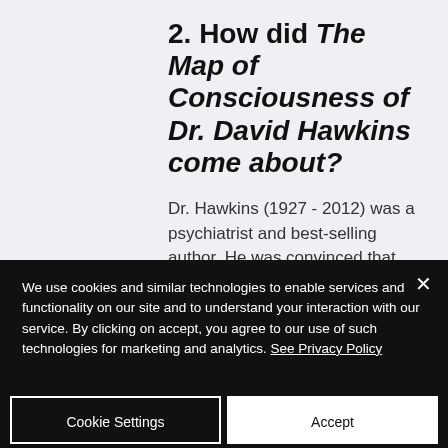2. How did The Map of Consciousness of Dr. David Hawkins come about?
Dr. Hawkins (1927 - 2012) was a psychiatrist and best-selling author. He was convinced that spirituality
We use cookies and similar technologies to enable services and functionality on our site and to understand your interaction with our service. By clicking on accept, you agree to our use of such technologies for marketing and analytics. See Privacy Policy